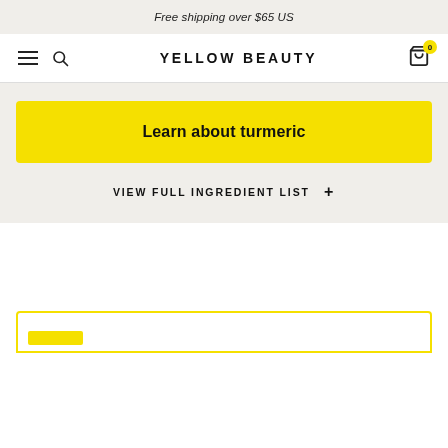Free shipping over $65 US
YELLOW BEAUTY
Learn about turmeric
VIEW FULL INGREDIENT LIST +